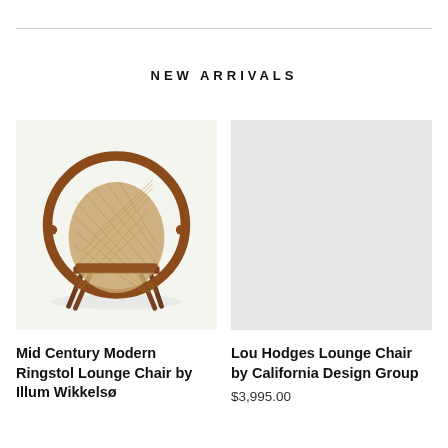NEW ARRIVALS
[Figure (photo): Mid Century Modern Ringstol Lounge Chair by Illum Wikkelsø — a circular woven cane back and seat on a walnut wood frame with angled legs, photographed on white background]
Mid Century Modern Ringstol Lounge Chair by Illum Wikkelsø
[Figure (photo): Lou Hodges Lounge Chair by California Design Group — placeholder gray image]
Lou Hodges Lounge Chair by California Design Group
$3,995.00